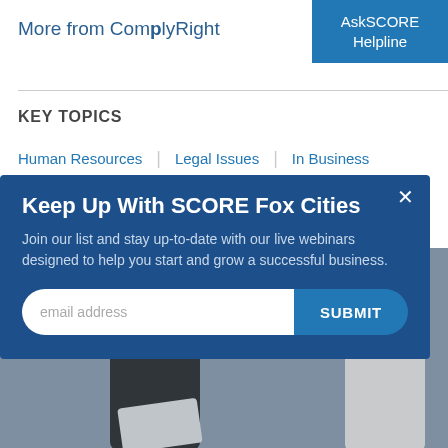More from ComplyRight
AskSCORE Helpline
KEY TOPICS
Human Resources | Legal Issues | In Business
Keep Up With SCORE Fox Cities
Join our list and stay up-to-date with our live webinars designed to help you start and grow a successful business.
email address  SUBMIT
[Figure (photo): Two people in a business meeting, one gesturing with hand raised, the other holding papers]